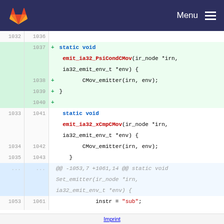GitLab logo — Menu
Code diff view showing additions and context lines for emit_ia32_PsiCondCMov and emit_ia32_xCmpCMov functions
Imprint